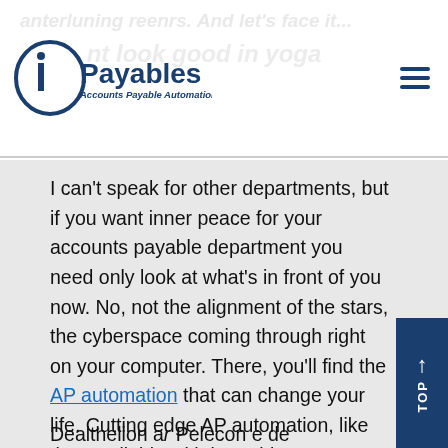iPayables Accounts Payable Automation
I can't speak for other departments, but if you want inner peace for your accounts payable department you need only look at what's in front of you now. No, not the alignment of the stars, the cyberspace coming through right on your computer. There, you'll find the AP automation that can change your life. Cutting edge AP automation, like that available with iPayables InvoiceWorks®.